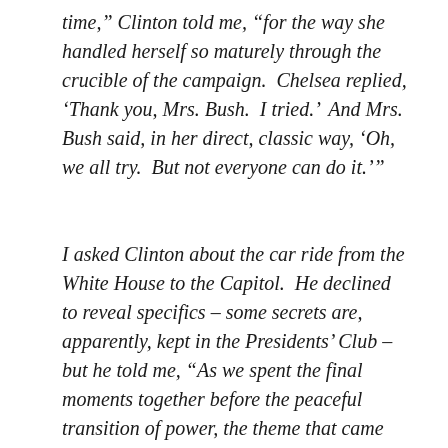time,” Clinton told me, “for the way she handled herself so maturely through the crucible of the campaign.  Chelsea replied, ‘Thank you, Mrs. Bush.  I tried.’  And Mrs. Bush said, in her direct, classic way, ‘Oh, we all try.  But not everyone can do it.’”
I asked Clinton about the car ride from the White House to the Capitol.  He declined to reveal specifics – some secrets are, apparently, kept in the Presidents’ Club – but he told me, “As we spent the final moments together before the peaceful transition of power, the theme that came out again and again was gratitude – for